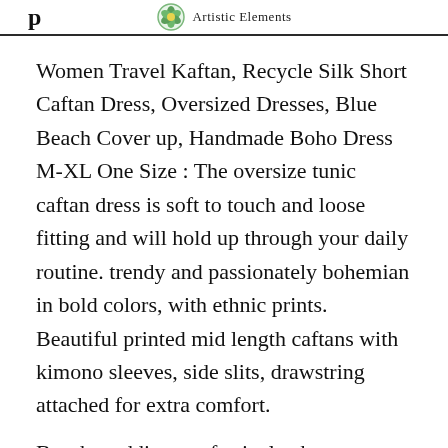Artistic Elements
Women Travel Kaftan, Recycle Silk Short Caftan Dress, Oversized Dresses, Blue Beach Cover up, Handmade Boho Dress M-XL One Size : The oversize tunic caftan dress is soft to touch and loose fitting and will hold up through your daily routine. trendy and passionately bohemian in bold colors, with ethnic prints. Beautiful printed mid length caftans with kimono sleeves, side slits, drawstring attached for extra comfort.
Beach weddings or festivals, the pri...zz up your wardrobe. Holiday giftin... easy. Beautiful handcrafted kimonos, caftans, resort